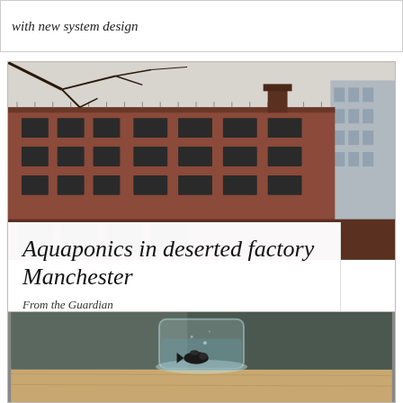with new system design
[Figure (photo): Photo of a red brick industrial factory building in Manchester, multi-storey with large windows, bare tree branches visible at top, another modern building visible to the right, overcast sky.]
Aquaponics in deserted factory Manchester
From the Guardian
[Figure (photo): Close-up photo of a glass jar or container with water and a small dark fish (likely a small black fish) visible inside, sitting on a wooden surface, with blurred background.]